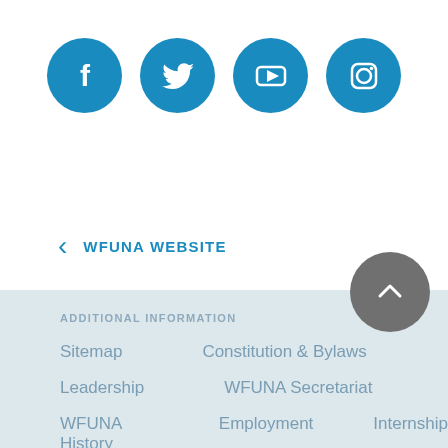[Figure (infographic): Four circular social media icon buttons in blue: Facebook, Twitter, YouTube, Instagram]
< WFUNA WEBSITE
[Figure (other): Gray circular scroll-to-top button with upward chevron arrow]
ADDITIONAL INFORMATION
Sitemap      Constitution & Bylaws
Leadership      WFUNA Secretariat
WFUNA History      Employment      Internship